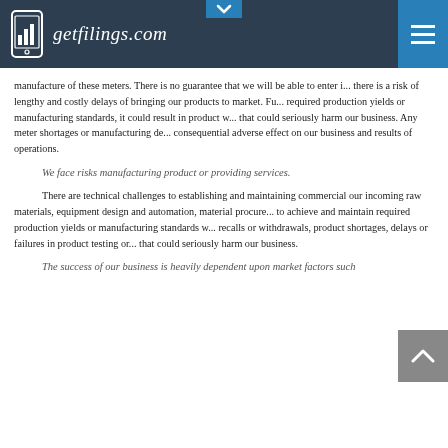getfilings.com
manufacture of these meters. There is no guarantee that we will be able to enter i... there is a risk of lengthy and costly delays of bringing our products to market. Fu... required production yields or manufacturing standards, it could result in product w... that could seriously harm our business. Any meter shortages or manufacturing de... consequential adverse effect on our business and results of operations.
We face risks manufacturing product or providing services.
There are technical challenges to establishing and maintaining commercial... our incoming raw materials, equipment design and automation, material procurer... to achieve and maintain required production yields or manufacturing standards w... recalls or withdrawals, product shortages, delays or failures in product testing or... that could seriously harm our business.
The success of our business is heavily dependent upon market factors such